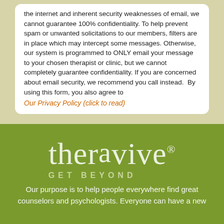the internet and inherent security weaknesses of email, we cannot guarantee 100% confidentiality. To help prevent spam or unwanted solicitations to our members, filters are in place which may intercept some messages. Otherwise, our system is programmed to ONLY email your message to your chosen therapist or clinic, but we cannot completely guarantee confidentiality. If you are concerned about email security, we recommend you call instead.  By using this form, you also agree to
Our Privacy Policy (click to read)
[Figure (logo): Theravive logo with text 'theravive' in large light serif font on olive green background, with registered trademark symbol, a small dot above the letter v, and tagline 'GET BEYOND' in spaced capital letters below]
Our purpose is to help people everywhere find great counselors and psychologists. Everyone can have a new